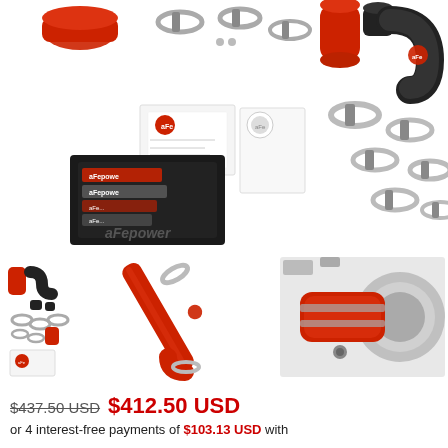[Figure (photo): Product photos showing aFe Power intake kit components: red and black silicone couplers, T-bolt hose clamps, instruction manual, stickers/decals, and branded black mat/tray. Two views side by side at top.]
[Figure (photo): Three smaller product photos: left showing full kit parts laid out, center showing red aluminum/steel intake pipe with clamps, right showing installed turbo inlet with red coupler on engine.]
$437.50 USD  $412.50 USD
or 4 interest-free payments of $103.13 USD with